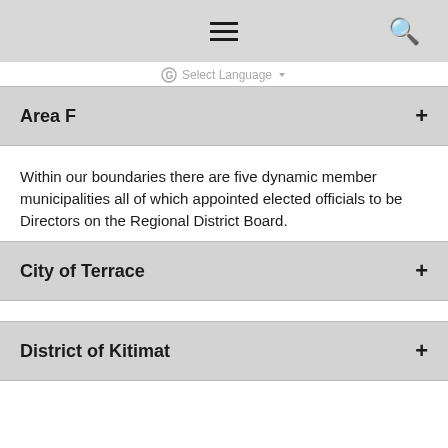Select Language
Area F +
Within our boundaries there are five dynamic member municipalities all of which appointed elected officials to be Directors on the Regional District Board.
City of Terrace +
District of Kitimat +